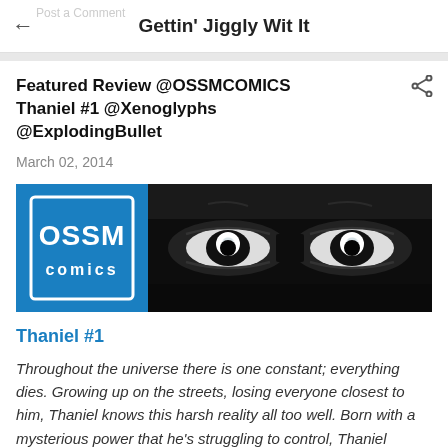Gettin' Jiggly Wit It
Featured Review @OSSMCOMICS Thaniel #1 @Xenoglyphs @ExplodingBullet
March 02, 2014
[Figure (logo): OSSM Comics logo (blue square with stylized text) beside a close-up black and white comic book illustration of intense eyes with skull reflections]
Thaniel #1
Throughout the universe there is one constant; everything dies. Growing up on the streets, losing everyone closest to him, Thaniel knows this harsh reality all too well. Born with a mysterious power that he's struggling to control, Thaniel begins to wonder if those he loves are gone because of him.